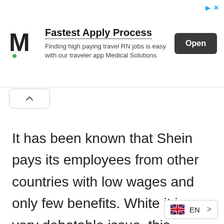[Figure (infographic): Advertisement banner for Medical Solutions: Fastest Apply Process. Finding high paying travel RN jobs is easy with our traveler app Medical Solutions. Open button.]
It has been known that Shein pays its employees from other countries with low wages and only few benefits. White it is a very debatable issue, this practice is common in clothing companies, not just Shein.